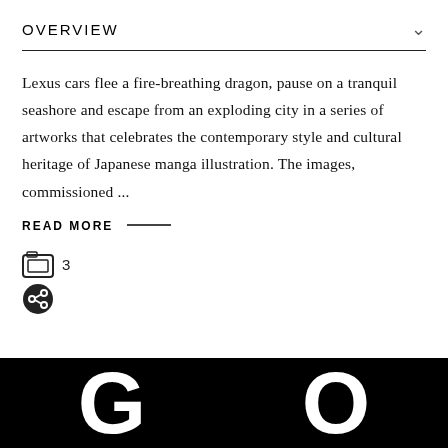OVERVIEW
Lexus cars flee a fire-breathing dragon, pause on a tranquil seashore and escape from an exploding city in a series of artworks that celebrates the contemporary style and cultural heritage of Japanese manga illustration. The images, commissioned ...
READ MORE —
[Figure (screenshot): Image icon with count '3' and a share icon below it]
[Figure (photo): Black banner at bottom showing large white letters 'G' and 'O' in bold sans-serif font]